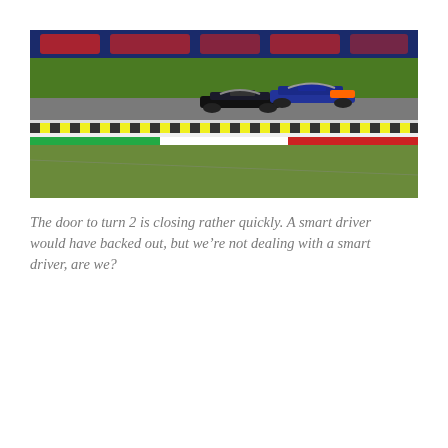[Figure (photo): Formula 1 race photo showing two F1 cars (one black, one Red Bull orange/blue livery) racing closely together on a circuit with green grass, rumble strips, a wall with Italian flag colours, and advertising hoardings in the background.]
The door to turn 2 is closing rather quickly. A smart driver would have backed out, but we're not dealing with a smart driver, are we?